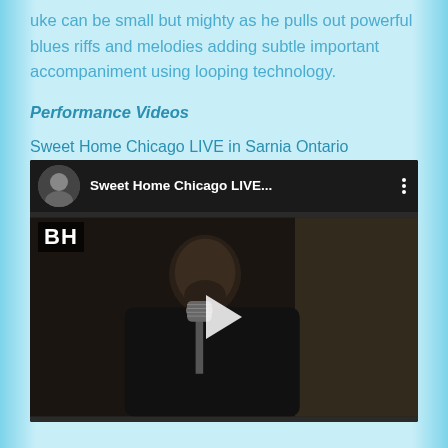uke can be small but mighty as he pulls out powerful blues riffs and melodies adding subtle important accompaniment using looping technology.
Performance Videos
Sweet Home Chicago LIVE in Sarnia Ontario
[Figure (screenshot): Embedded YouTube video player showing 'Sweet Home Chicago LIVE...' with a man performing near a vintage microphone. BH watermark visible in top-left corner. Play button overlay in center.]